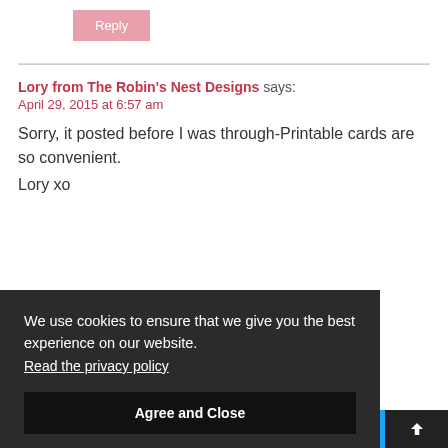Reply
Lory from The Robin's Nest Designs says:
April 29, 2015 at 6:57 am
Sorry, it posted before I was through-Printable cards are so convenient.
Lory xo
We use cookies to ensure that we give you the best experience on our website. Read the privacy policy
Agree and Close